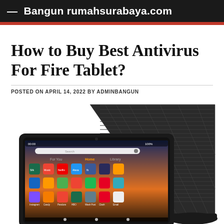Bangun rumahsurabaya.com
How to Buy Best Antivirus For Fire Tablet?
POSTED ON APRIL 14, 2022 BY ADMINBANGUN
[Figure (photo): Amazon Fire tablet with colorful app icons on screen, displayed alongside a black fabric standing case/dock in tent position]